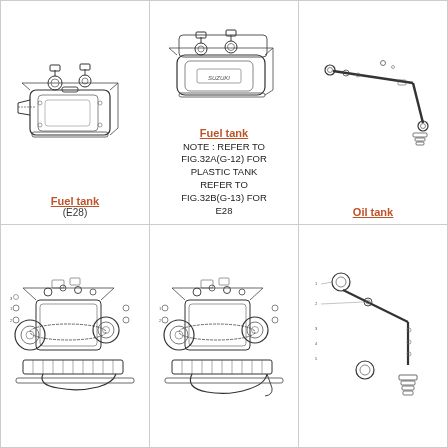[Figure (engineering-diagram): Exploded engineering diagram of a fuel tank (E28 variant) with components and fittings shown in line art.]
Fuel tank
(E28)
[Figure (engineering-diagram): Exploded engineering diagram of a fuel tank with Suzuki branding, showing components for plastic tank variants.]
Fuel tank
NOTE : REFER TO FIG.32A(G-12) FOR PLASTIC TANK REFER TO FIG.32B(G-13) FOR E28
[Figure (engineering-diagram): Engineering diagram of oil tank components including hose/tube assembly.]
Oil tank
[Figure (engineering-diagram): Detailed exploded diagram of engine/motor assembly with multiple components, belts, and fasteners.]
[Figure (engineering-diagram): Detailed exploded diagram of engine/motor assembly variant with hose routing shown.]
[Figure (engineering-diagram): Exploded diagram of oil/fuel line components including cap, rod, bolts, and washers.]